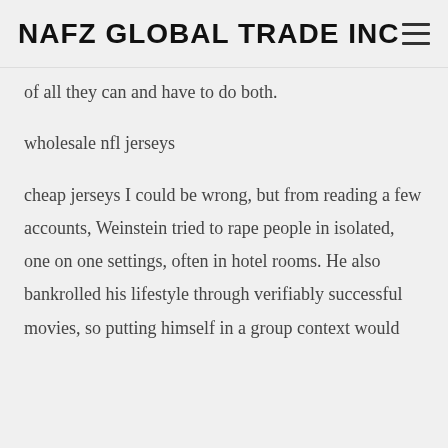NAFZ GLOBAL TRADE INC
of all they can and have to do both.
wholesale nfl jerseys
cheap jerseys I could be wrong, but from reading a few accounts, Weinstein tried to rape people in isolated, one on one settings, often in hotel rooms. He also bankrolled his lifestyle through verifiably successful movies, so putting himself in a group context would